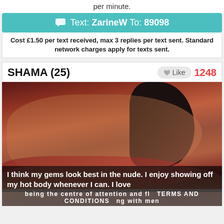per minute.
Text: ZarineW To: 89098
Cost £1.50 per text received, max 3 replies per text sent. Standard network charges apply for texts sent.
SHAMA (25)
Like  1248
[Figure (photo): Photo of a woman named Shama (25) posing with jewellery and red clothing against a red/pink satin background.]
I think my gems look best in the nude. I enjoy showing off my hot body whenever I can. I love being the centre of attention and flirting with men
TERMS AND CONDITIONS